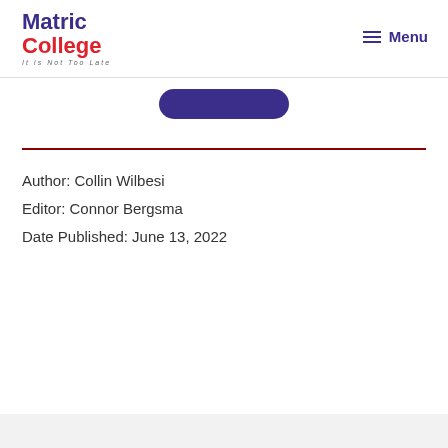Matric College — It Is Not Too Late | Menu
[Figure (other): Partially visible blue rounded button at top center]
Author: Collin Wilbesi
Editor: Connor Bergsma
Date Published: June 13, 2022